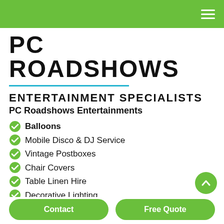Navigation bar with hamburger menu
PC ROADSHOWS
ENTERTAINMENT SPECIALISTS
PC Roadshows Entertainments
Balloons
Mobile Disco & DJ Service
Vintage Postboxes
Chair Covers
Table Linen Hire
Decorative Lighting
Venue Dressing
... plus 66 other party services
Contact | Free Quote